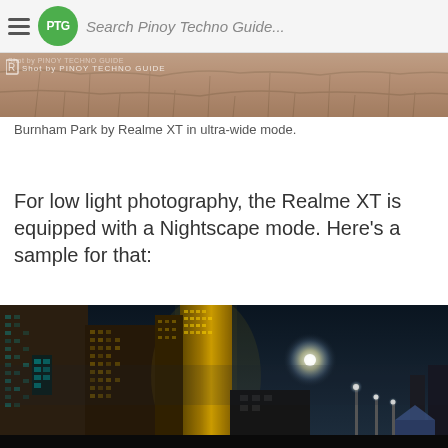Search Pinoy Techno Guide...
[Figure (photo): Partial view of Burnham Park photographed by Realme XT in ultra-wide mode, showing stone/brick ground texture]
Burnham Park by Realme XT in ultra-wide mode.
For low light photography, the Realme XT is equipped with a Nightscape mode. Here’s a sample for that:
[Figure (photo): Night cityscape photo taken with Realme XT Nightscape mode, showing illuminated skyscrapers with golden lights on left, dark sky with moon glow in background, and street lights on lower right]